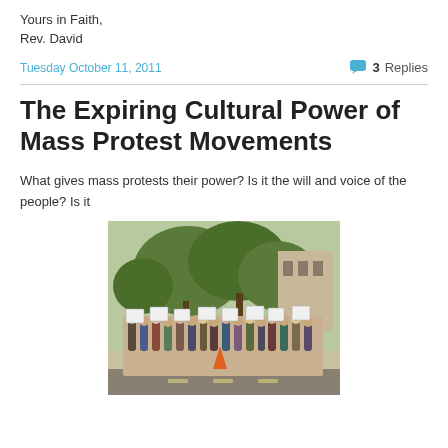Yours in Faith,
Rev. David
Tuesday October 11, 2011
3 Replies
The Expiring Cultural Power of Mass Protest Movements
What gives mass protests their power? Is it the will and voice of the people? Is it
[Figure (photo): A crowd of protesters standing outdoors holding signs, with trees and a building visible in the background.]